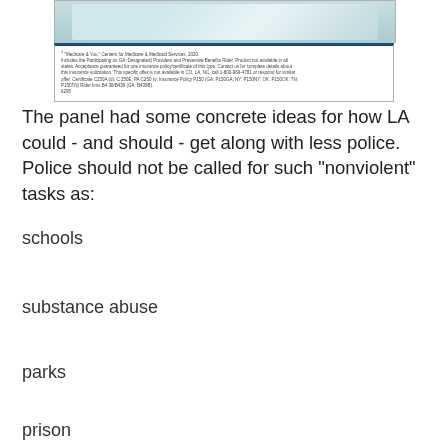[Figure (screenshot): Partial screenshot of an insurance document page showing a photo of a person and footnote text referencing Medicare & You, Centers for Medicare & Medicaid Services, 2020, with policy details and rider numbers.]
The panel had some concrete ideas for how LA could - and should - get along with less police. Police should not be called for such "nonviolent" tasks as:
schools
substance abuse
parks
prison